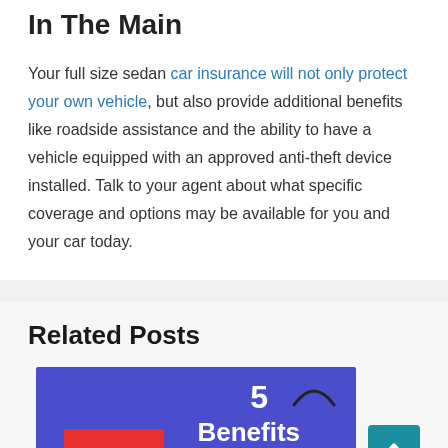In The Main
Your full size sedan car insurance will not only protect your own vehicle, but also provide additional benefits like roadside assistance and the ability to have a vehicle equipped with an approved anti-theft device installed. Talk to your agent about what specific coverage and options may be available for you and your car today.
Related Posts
[Figure (illustration): A blue promotional banner image showing '5 Benefits' text in white on a blue/purple background with a red bar element and a small arch graphic]